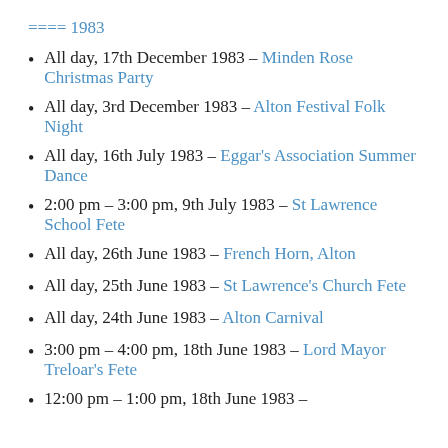==== 1983
All day, 17th December 1983 – Minden Rose Christmas Party
All day, 3rd December 1983 – Alton Festival Folk Night
All day, 16th July 1983 – Eggar's Association Summer Dance
2:00 pm – 3:00 pm, 9th July 1983 – St Lawrence School Fete
All day, 26th June 1983 – French Horn, Alton
All day, 25th June 1983 – St Lawrence's Church Fete
All day, 24th June 1983 – Alton Carnival
3:00 pm – 4:00 pm, 18th June 1983 – Lord Mayor Treloar's Fete
12:00 pm – 1:00 pm, 18th June 1983 –